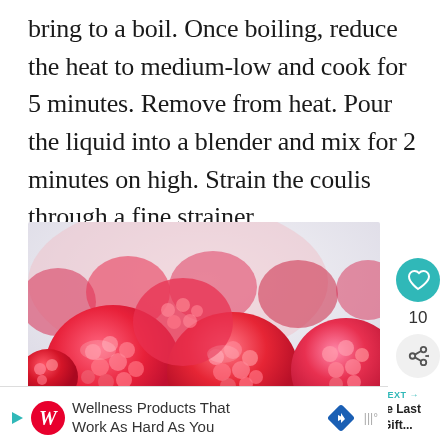bring to a boil. Once boiling, reduce the heat to medium-low and cook for 5 minutes. Remove from heat. Pour the liquid into a blender and mix for 2 minutes on high. Strain the coulis through a fine strainer.
[Figure (photo): Close-up photo of fresh raspberries, vivid red/pink, filling the frame against a pale background]
10
WHAT'S NEXT → A Festive Last Minute Gift...
Wellness Products That Work As Hard As You